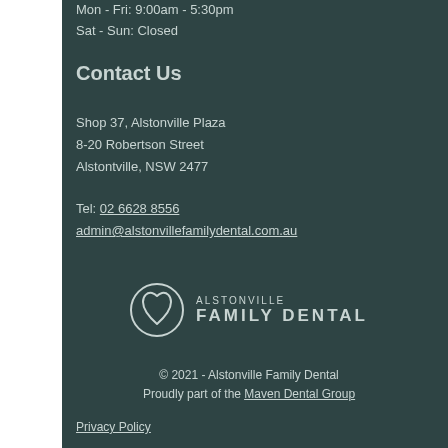Mon - Fri: 9:00am - 5:30pm
Sat - Sun: Closed
Contact Us
Shop 37, Alstonville Plaza
8-20 Robertson Street
Alstontville, NSW 2477
Tel: 02 6628 8556
admin@alstonvillefamilydental.com.au
[Figure (logo): Alstonville Family Dental logo with tooth/heart icon and text ALSTONVILLE FAMILY DENTAL]
© 2021 - Alstonville Family Dental
Proudly part of the Maven Dental Group
Privacy Policy